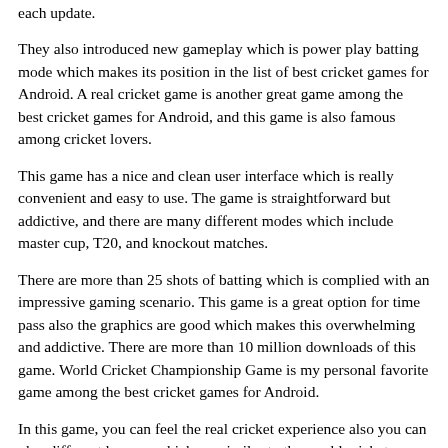each update.
They also introduced new gameplay which is power play batting mode which makes its position in the list of best cricket games for Android. A real cricket game is another great game among the best cricket games for Android, and this game is also famous among cricket lovers.
This game has a nice and clean user interface which is really convenient and easy to use. The game is straightforward but addictive, and there are many different modes which include master cup, T20, and knockout matches.
There are more than 25 shots of batting which is complied with an impressive gaming scenario. This game is a great option for time pass also the graphics are good which makes this overwhelming and addictive. There are more than 10 million downloads of this game. World Cricket Championship Game is my personal favorite game among the best cricket games for Android.
In this game, you can feel the real cricket experience also you can play different leagues which are similar to the world cricket championship. You have to collect points to play other leagues in this game.
The Cricket world cup game is based on 3D graphics and looks